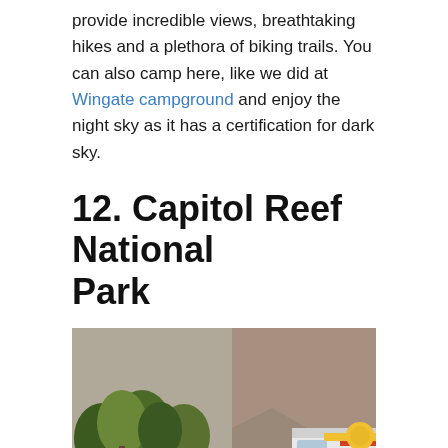provide incredible views, breathtaking hikes and a plethora of biking trails. You can also camp here, like we did at Wingate campground and enjoy the night sky as it has a certification for dark sky.
12. Capitol Reef National Park
[Figure (photo): A deer standing on a road lined with green leafy trees, with a camper van (showing 'CAMPER VAN RE' text on the rear) parked on the right side, and rocky cliffs visible in the background.]